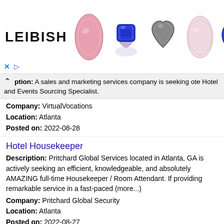[Figure (advertisement): Leibish jewelry advertisement banner showing the brand name LEIBISH on the left and five colorful gemstones (pink oval, blue cushion cut in ring setting, gray heart shape, pink oval, blue round) across the top. Ad controls (X and play button) at bottom left.]
ption: A sales and marketing services company is seeking ote Hotel and Events Sourcing Specialist.
Company: VirtualVocations
Location: Atlanta
Posted on: 2022-08-28
Hotel Housekeeper
Description: Pritchard Global Services located in Atlanta, GA is actively seeking an efficient, knowledgeable, and absolutely AMAZING full-time Housekeeper / Room Attendant. If providing remarkable service in a fast-paced (more...)
Company: Pritchard Global Security
Location: Atlanta
Posted on: 2022-08-27
Hotel Cook
Description: Kana Hotel Group's mission is to be one of the most admired and service quality driven hotel companies in the industry. We will accomplish our goal by creating an atmosphere of friendly employee behavior (more...)
Company: Embassy Suites Atlanta/Airport, GA
Location: Atlanta
Posted on: 2022-08-30